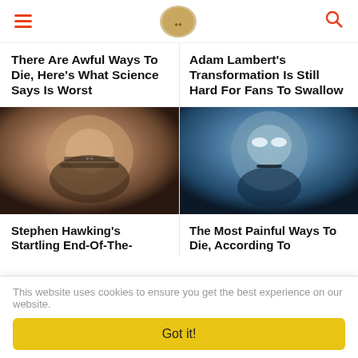Navigation header with hamburger menu, logo, and search icon
There Are Awful Ways To Die, Here's What Science Says Is Worst
Adam Lambert's Transformation Is Still Hard For Fans To Swallow
[Figure (photo): Close-up photo of Stephen Hawking wearing glasses]
Stephen Hawking's Startling End-Of-The-
[Figure (photo): Blue-toned dramatic photo of a woman with white eyes]
The Most Painful Ways To Die, According To
This website uses cookies to ensure you get the best experience on our website.
Got it!